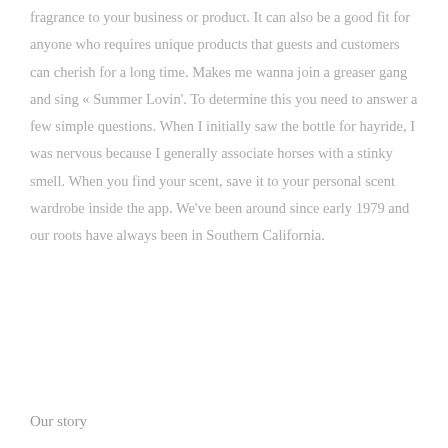fragrance to your business or product. It can also be a good fit for anyone who requires unique products that guests and customers can cherish for a long time. Makes me wanna join a greaser gang and sing « Summer Lovin'. To determine this you need to answer a few simple questions. When I initially saw the bottle for hayride, I was nervous because I generally associate horses with a stinky smell. When you find your scent, save it to your personal scent wardrobe inside the app. We've been around since early 1979 and our roots have always been in Southern California.
Our story